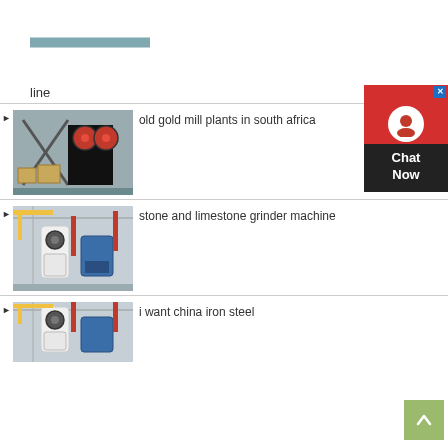[Figure (photo): Partial view of industrial machinery production line]
line
[Figure (photo): Industrial jaw crusher machinery in a factory]
old gold mill plants in south africa
[Figure (photo): Industrial grinding mill machines in factory]
stone and limestone grinder machine
[Figure (photo): Industrial grinding mill machines, partial view]
i want china iron steel